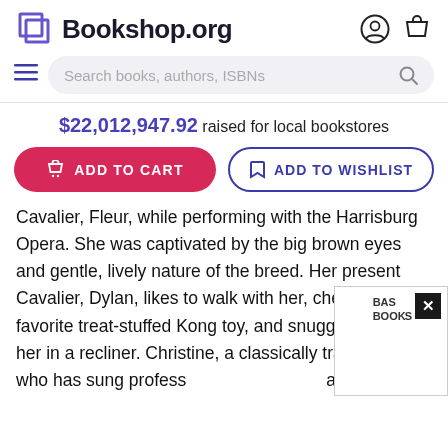Bookshop.org
$22,012,947.92 raised for local bookstores
ADD TO CART   ADD TO WISHLIST
Cavalier, Fleur, while performing with the Harrisburg Opera. She was captivated by the big brown eyes and gentle, lively nature of the breed. Her present Cavalier, Dylan, likes to walk with her, chew on his favorite treat-stuffed Kong toy, and snuggle next to her in a recliner. Christine, a classically trained singer who has sung profess also been a g have fascina nd music' ough